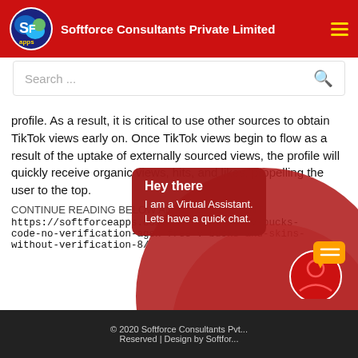Softforce Consultants Private Limited
Search ...
profile. As a result, it is critical to use other sources to obtain TikTok views early on. Once TikTok views begin to flow as a result of the uptake of externally sourced views, the profile will quickly receive organic views, hits, and likes, propelling the user to the top.
CONTINUE READING BELOW AN ADVERTISEMENT
https://softforceapps.com/question/free-v-bucks-code-no-verification-agen-free-v-bucks-and-skins-without-verification-8/
Hey there
I am a Virtual Assistant. Lets have a quick chat.
© 2020 Softforce Consultants Pvt... Reserved | Design by Softfor...